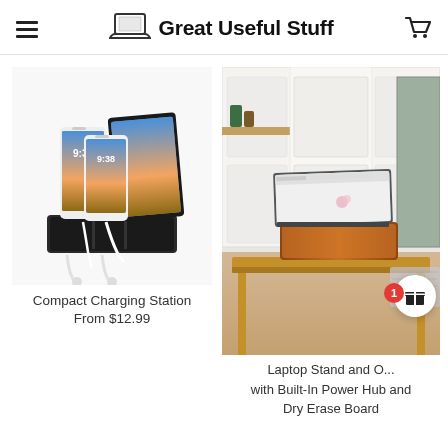Great Useful Stuff
[Figure (photo): Compact charging station dock holding two smartphones and a tablet with charging cables]
Compact Charging Station
From $12.99
[Figure (photo): Laptop stand with built-in power supply and dry erase board on a wooden table in a kitchen setting]
Laptop Stand and Desk Organizer with Built-In Power Hub and Dry Erase Board